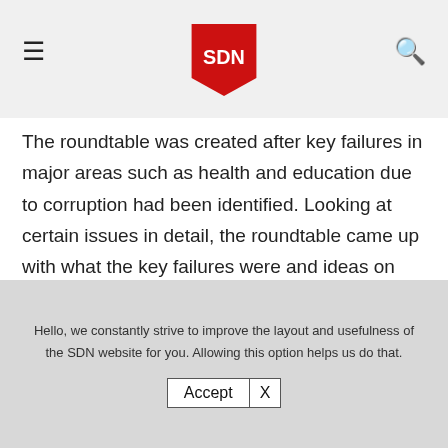SDN
The roundtable was created after key failures in major areas such as health and education due to corruption had been identified. Looking at certain issues in detail, the roundtable came up with what the key failures were and ideas on how to combat them.
The Fight Corruption Project was set up to end corruption through mobilizing Nigerian citizens to actively challenge cases of corruption and
Hello, we constantly strive to improve the layout and usefulness of the SDN website for you. Allowing this option helps us do that.